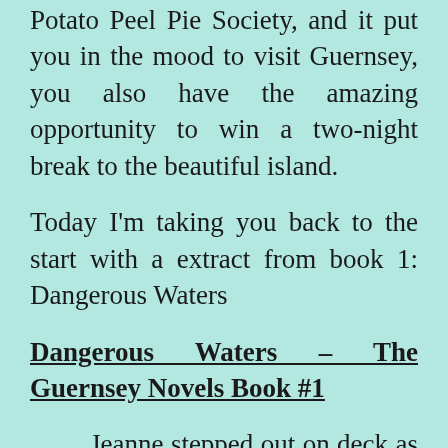Potato Peel Pie Society, and it put you in the mood to visit Guernsey, you also have the amazing opportunity to win a two-night break to the beautiful island.
Today I'm taking you back to the start with a extract from book 1: Dangerous Waters
Dangerous Waters – The Guernsey Novels Book #1
Jeanne stepped out on deck as the spring sun broke through the clouds. A warm glow spread across green and